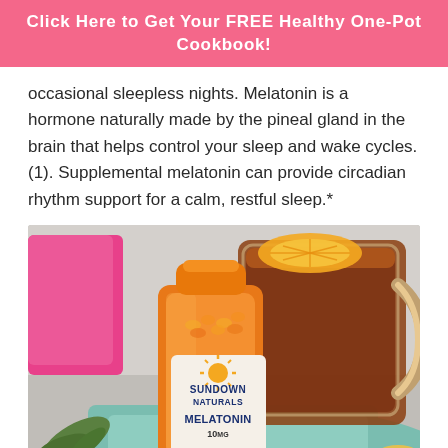Click Here to Get Your FREE Healthy One-Pot Cookbook!
occasional sleepless nights. Melatonin is a hormone naturally made by the pineal gland in the brain that helps control your sleep and wake cycles. (1). Supplemental melatonin can provide circadian rhythm support for a calm, restful sleep.*
[Figure (photo): A bottle of Sundown Naturals Melatonin 10mg supplement with an orange cap, next to a glass mug of hot tea with a lemon/orange slice, set against a teal cloth background with pink towel and herbs]